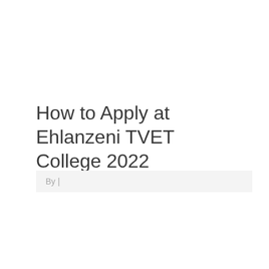How to Apply at Ehlanzeni TVET College 2022
By |